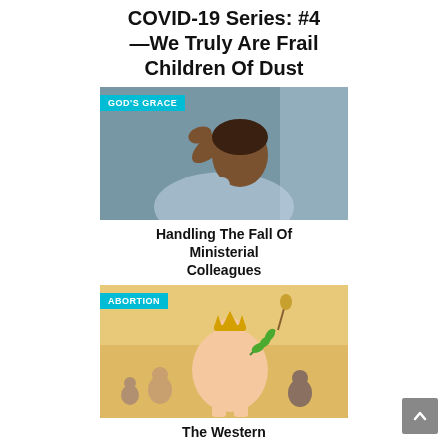COVID-19 Series: #4 —We Truly Are Frail Children Of Dust
[Figure (photo): Person holding their head with both hands, bowed down, wearing a light blue sweater, dark moody background. Tag: GOD'S GRACE]
Handling The Fall Of Ministerial Colleagues
[Figure (illustration): Cartoon illustration of a crowned figure with a laurel branch, surrounded by small people. Tag: ABORTION]
The Western